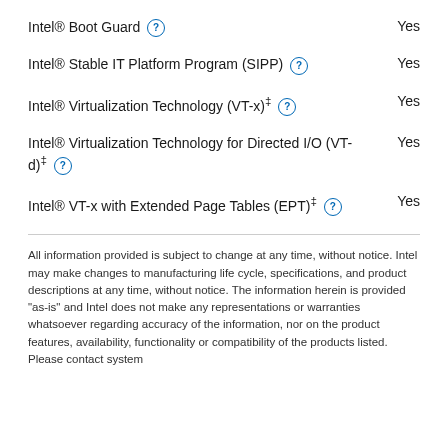Intel® Boot Guard  Yes
Intel® Stable IT Platform Program (SIPP)  Yes
Intel® Virtualization Technology (VT-x) †  Yes
Intel® Virtualization Technology for Directed I/O (VT-d) †  Yes
Intel® VT-x with Extended Page Tables (EPT) †  Yes
All information provided is subject to change at any time, without notice. Intel may make changes to manufacturing life cycle, specifications, and product descriptions at any time, without notice. The information herein is provided "as-is" and Intel does not make any representations or warranties whatsoever regarding accuracy of the information, nor on the product features, availability, functionality or compatibility of the products listed. Please contact system